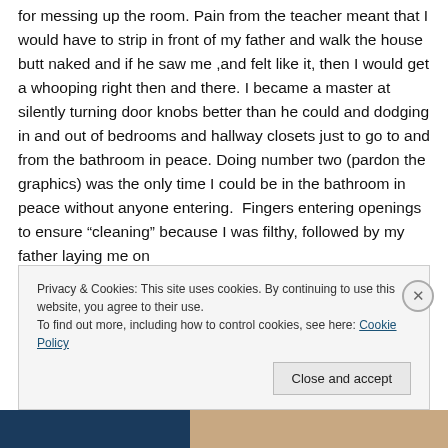for messing up the room. Pain from the teacher meant that I would have to strip in front of my father and walk the house butt naked and if he saw me ,and felt like it, then I would get a whooping right then and there. I became a master at silently turning door knobs better than he could and dodging in and out of bedrooms and hallway closets just to go to and from the bathroom in peace. Doing number two (pardon the graphics) was the only time I could be in the bathroom in peace without anyone entering.  Fingers entering openings to ensure "cleaning" because I was filthy, followed by my father laying me on
Privacy & Cookies: This site uses cookies. By continuing to use this website, you agree to their use.
To find out more, including how to control cookies, see here: Cookie Policy
[Figure (screenshot): Bottom image strip showing a dark blue bar on the left and a partial face/skin-tone image on the right]